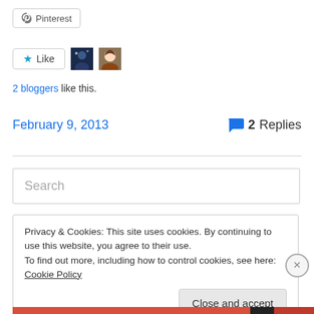[Figure (screenshot): Pinterest share button with lock/pin icon]
[Figure (screenshot): Like button with star icon and two blogger avatar thumbnails]
2 bloggers like this.
February 9, 2013
2 Replies
[Figure (screenshot): Search input field placeholder]
Privacy & Cookies: This site uses cookies. By continuing to use this website, you agree to their use.
To find out more, including how to control cookies, see here: Cookie Policy
Close and accept